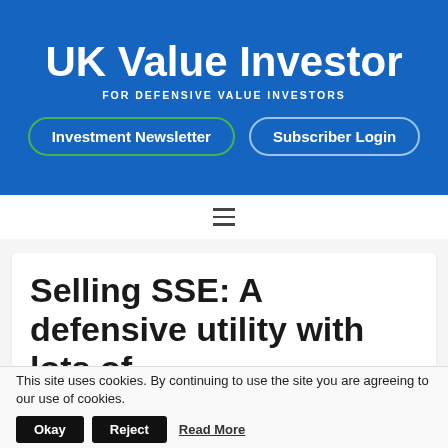UK Value Investor
FOR DEFENSIVE VALUE INVESTORS
Investment Newsletter
Subscriber Login
Selling SSE: A defensive utility with lots of problems
This site uses cookies. By continuing to use the site you are agreeing to our use of cookies. Okay Reject Read More